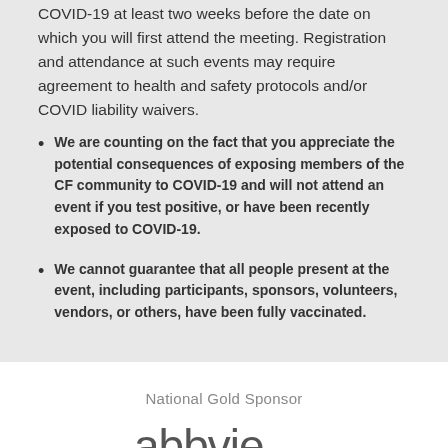COVID-19 at least two weeks before the date on which you will first attend the meeting. Registration and attendance at such events may require agreement to health and safety protocols and/or COVID liability waivers.
We are counting on the fact that you appreciate the potential consequences of exposing members of the CF community to COVID-19 and will not attend an event if you test positive, or have been recently exposed to COVID-19.
We cannot guarantee that all people present at the event, including participants, sponsors, volunteers, vendors, or others, have been fully vaccinated.
National Gold Sponsor
[Figure (logo): AbbVie company logo shown partially at the bottom of the page]